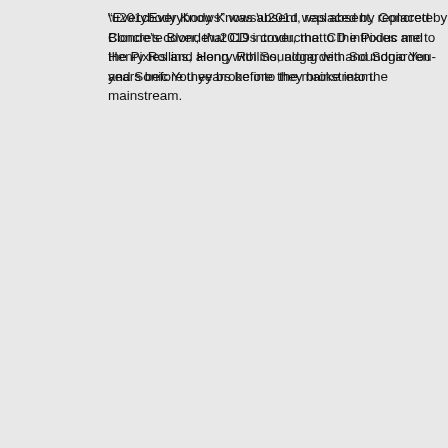“Everybody Knows” was absent, replaced by Concrete Blonde’s cover, that CD introduced me to the Pixies and Henry Rollins, along with Soundgarden and Sonic Youth years before they broke into the mainstream.
I finally rediscovered Cohen a few years later, but that will be discussed in time.
I still live with Pump Up the Volume as an influence on my life, though as an adult I find few of the characters relatable; my own teenage angst and awkwardness are now, fortunately, long buried in the past. Yet, as I mention this film — which I long considered an obscurity — to people around my age find we, like Harry’s on-screen audience, had a shared communal experience. Pump Up the Volume became a film that, despite its faults, resonated with
Rewatching this film to prepare for this review I found myself connecting with Hard Harry in a new way. When he finally tells the story of how he got started with his pirate radio, it was a familiar one. He started broadcasting thinking one, or perhaps one special person, was listening. Slowly he realized his show was picking up steam. It was an incredible dream, and one I think nearly every podcaster shares.
Every podcast begins the same way: someone picks up a microphone and starts talking with no clue if anyone will listen. Some shows may have better odds than others, being featured on other podcast feeds and the like, but I know when I recorded my first episode of Star Wars Action News I wondered